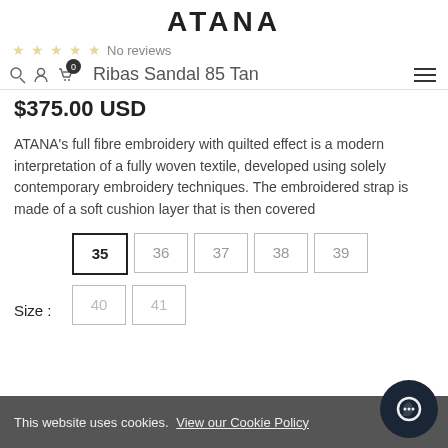ATANA
No reviews
Ribas Sandal 85 Tan
$375.00 USD
ATANA's full fibre embroidery with quilted effect is a modern interpretation of a fully woven textile, developed using solely contemporary embroidery techniques. The embroidered strap is made of a soft cushion layer that is then covered
Size : 35, 36, 37, 38, 39, 40, 41
This website uses cookies. View our Cookie Policy